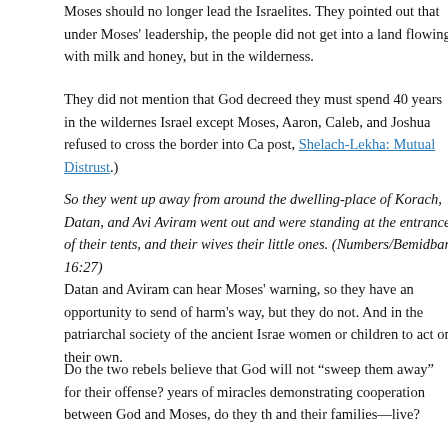Moses should no longer lead the Israelites. They pointed out that under Moses' leadership, the people did not get into a land flowing with milk and honey, but in the wilderness.
They did not mention that God decreed they must spend 40 years in the wilderness. Israel except Moses, Aaron, Caleb, and Joshua refused to cross the border into Ca post, Shelach-Lekha: Mutual Distrust.)
So they went up away from around the dwelling-place of Korach, Datan, and Avi Aviram went out and were standing at the entrance of their tents, and their wives their little ones. (Numbers/Bemidbar 16:27)
Datan and Aviram can hear Moses' warning, so they have an opportunity to send of harm's way, but they do not. And in the patriarchal society of the ancient Israel women or children to act on their own.
Do the two rebels believe that God will not “sweep them away” for their offense? years of miracles demonstrating cooperation between God and Moses, do they th and their families—live?
If so, Moses is determined to prove once and for all that he is only serving God, n his own initiative.
And Moses said: Through this you will know that God